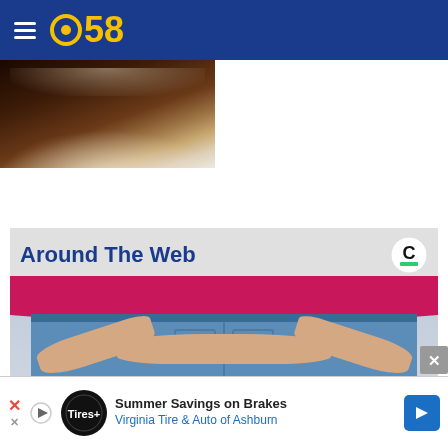CBS 58
[Figure (photo): Partial close-up photo of a dark chocolate dessert with coarse salt crystals on top]
Around The Web
[Figure (photo): Person wearing a red/pink long-sleeve top and blue jeans, hands clasped behind their back, shot from behind]
Summer Savings on Brakes
Virginia Tire & Auto of Ashburn